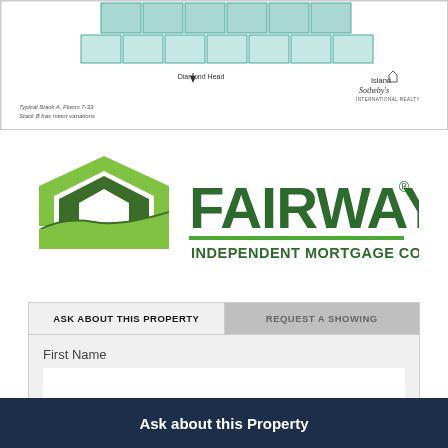[Figure (schematic): Partial view of a building floor plan or architectural diagram with 'Diamond Head' label and 'Island Sotheby's International Realty' branding. Caption reads: Typical Stack A, Floors 7-33 / Stack B has minor variations.]
[Figure (logo): Fairway Independent Mortgage Corporation logo with green house icon and green bold text.]
ASK ABOUT THIS PROPERTY
REQUEST A SHOWING
First Name
Ask about this Property